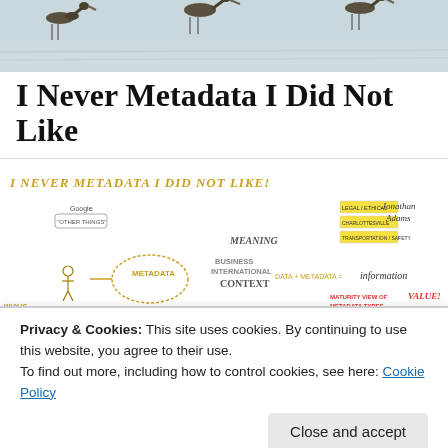[Figure (photo): Photograph of birds (shorebirds/geese) wading in shallow water, used as a decorative header image]
I Never Metadata I Did Not Like
[Figure (infographic): Mind map / sketchnote illustration titled 'I NEVER METADATA I DID NOT LIKE!' with handwritten text and diagrams about metadata concepts including Google, DATA + METADATA = information, BUSINESS CONTEXT, MEANING, WHY IS METADATA IMPORTANT?, Jonathan Adams, MATURITY VIEW OF METADATA TYPES, VALUE, and various connected boxes and thought bubbles.]
Privacy & Cookies: This site uses cookies. By continuing to use this website, you agree to their use.
To find out more, including how to control cookies, see here: Cookie Policy
Close and accept